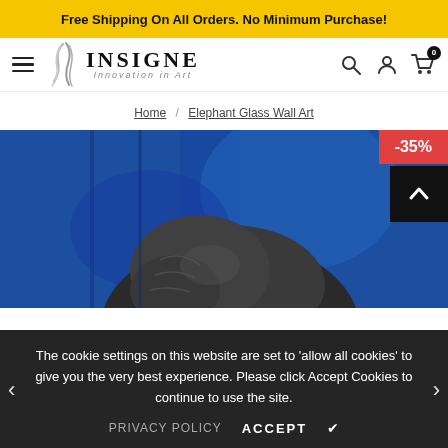Free Shipping On All Orders. No Minimum Purchase!
[Figure (logo): Insigne Innovation in Art logo with stylized brush strokes]
Home / Elephant Glass Wall Art
[Figure (photo): Elephant Glass Wall Art product photo showing elephant artwork on blue textured glass background with -35% discount badge]
The cookie settings on this website are set to ‘allow all cookies’ to give you the very best experience. Please click Accept Cookies to continue to use the site.
PRIVACY POLICY   ACCEPT  ✓